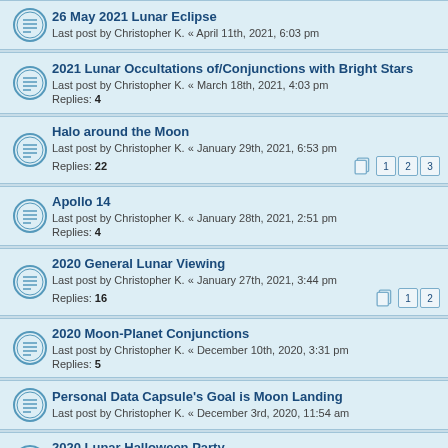26 May 2021 Lunar Eclipse
Last post by Christopher K. « April 11th, 2021, 6:03 pm
2021 Lunar Occultations of/Conjunctions with Bright Stars
Last post by Christopher K. « March 18th, 2021, 4:03 pm
Replies: 4
Halo around the Moon
Last post by Christopher K. « January 29th, 2021, 6:53 pm
Replies: 22
Apollo 14
Last post by Christopher K. « January 28th, 2021, 2:51 pm
Replies: 4
2020 General Lunar Viewing
Last post by Christopher K. « January 27th, 2021, 3:44 pm
Replies: 16
2020 Moon-Planet Conjunctions
Last post by Christopher K. « December 10th, 2020, 3:31 pm
Replies: 5
Personal Data Capsule's Goal is Moon Landing
Last post by Christopher K. « December 3rd, 2020, 11:54 am
2020 Lunar Halloween Party
Last post by Christopher K. « October 31st, 2020, 6:07 pm
Replies: 2
Apollo 11 Anniversary
Last post by Christopher K. « July 16th, 2020, 1:03 pm
Replies: 12